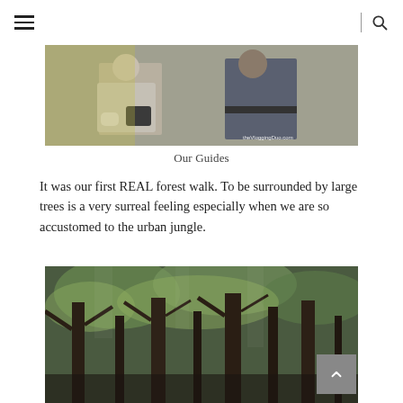Navigation header with hamburger menu and search icon
[Figure (photo): Two people standing outdoors, one wearing gloves and holding a bag, with a watermark 'theVloggingDuo.com' in the bottom right corner]
Our Guides
It was our first REAL forest walk. To be surrounded by large trees is a very surreal feeling especially when we are so accustomed to the urban jungle.
[Figure (photo): Close-up photograph of tall forest trees with green and yellow foliage, giving a surreal woodland atmosphere]